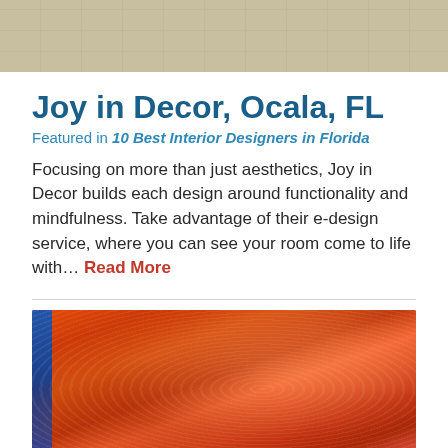[Figure (photo): Partial view of a room interior with a patterned geometric rug on a light wood floor, partially visible]
Joy in Decor, Ocala, FL
Featured in 10 Best Interior Designers in Florida
Focusing on more than just aesthetics, Joy in Decor builds each design around functionality and mindfulness. Take advantage of their e-design service, where you can see your room come to life with… Read More
[Figure (photo): Close-up photo of red/orange cooked crabs or crab legs piled together, with a blue background visible on the left edge]